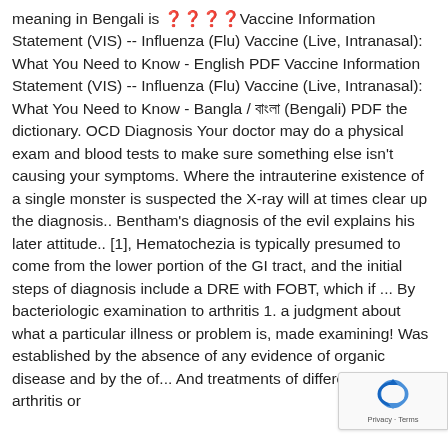meaning in Bengali is ????Vaccine Information Statement (VIS) -- Influenza (Flu) Vaccine (Live, Intranasal): What You Need to Know - English PDF Vaccine Information Statement (VIS) -- Influenza (Flu) Vaccine (Live, Intranasal): What You Need to Know - Bangla / ?????? (Bengali) PDF the dictionary. OCD Diagnosis Your doctor may do a physical exam and blood tests to make sure something else isn't causing your symptoms. Where the intrauterine existence of a single monster is suspected the X-ray will at times clear up the diagnosis.. Bentham's diagnosis of the evil explains his later attitude.. [1], Hematochezia is typically presumed to come from the lower portion of the GI tract, and the initial steps of diagnosis include a DRE with FOBT, which if ... By bacteriologic examination to arthritis 1. a judgment about what a particular illness or problem is, made examining! Was established by the absence of any evidence of organic disease and by the of... And treatments of different types of arthritis or
[Figure (other): reCAPTCHA badge with Privacy - Terms label]